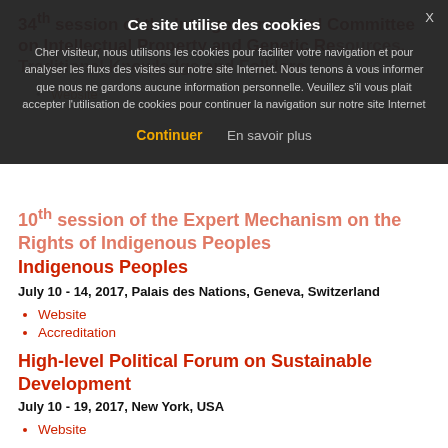34th session of the Intergovernmental Committee on Intellectual Property and Genetic Resources, Traditional Knowledge and Folklore
Website
10th session of the Expert Mechanism on the Rights of Indigenous Peoples
July 10 - 14, 2017, Palais des Nations, Geneva, Switzerland
Website
Accreditation
High-level Political Forum on Sustainable Development
July 10 - 19, 2017, New York, USA
Website
SOCIAL NETWORK NEWS
Ce site utilise des cookies
Cher visiteur, nous utilisons les cookies pour faciliter votre navigation et pour analyser les fluxs des visites sur notre site Internet. Nous tenons à vous informer que nous ne gardons aucune information personnelle. Veuillez s'il vous plait accepter l'utilisation de cookies pour continuer la navigation sur notre site Internet
Continuer   En savoir plus